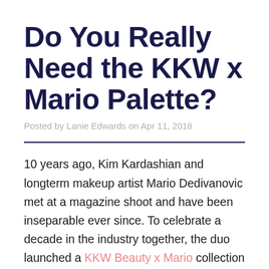Do You Really Need the KKW x Mario Palette?
Posted by Lanie Edwards on Apr 11, 2018
10 years ago, Kim Kardashian and longterm makeup artist Mario Dedivanovic met at a magazine shoot and have been inseparable ever since. To celebrate a decade in the industry together, the duo launched a KKW Beauty x Mario collection featuring a lipstick, two glosses, and an eyeshadow palette. I got my